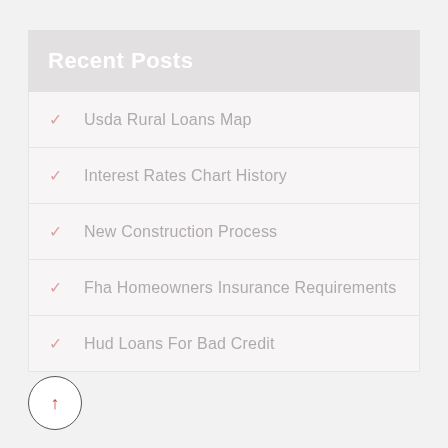Recent Posts
Usda Rural Loans Map
Interest Rates Chart History
New Construction Process
Fha Homeowners Insurance Requirements
Hud Loans For Bad Credit